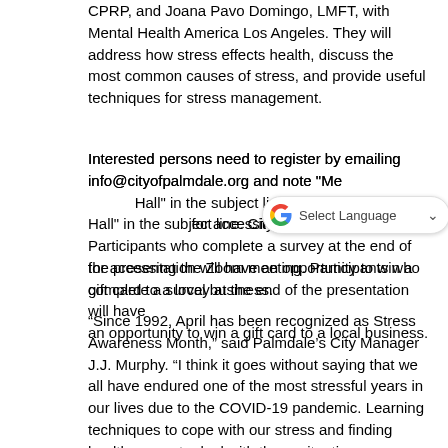CPRP, and Joana Pavo Domingo, LMFT, with Mental Health America Los Angeles. They will address how stress effects health, discuss the most common causes of stress, and provide useful techniques for stress management.
Interested persons need to register by emailing info@cityofpalmdale.org and note "Me...Hall" in the subject line. City staff will reply with the details for accessing the Zoom meeting. Participants who complete a survey at the end of the presentation will have an opportunity to win a gift card to a local business.
“Since 1992, April has been recognized as Stress Awareness Month,” said Palmdale’s City Manager J.J. Murphy. “I think it goes without saying that we all have endured one of the most stressful years in our lives due to the COVID-19 pandemic. Learning techniques to cope with our stress and finding healthy ways to deal with these situations can go a long way in living a healthy and positive life. I encourage anyone who has been feeling stressed out to join us for this informative presentation.”